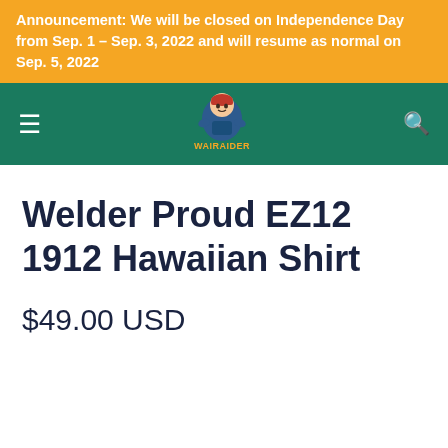Announcement: We will be closed on Independence Day from Sep. 1 – Sep. 3, 2022 and will resume as normal on Sep. 5, 2022
[Figure (logo): Wairaider logo — cartoon raider mascot with the text WAIRAIDER in orange/yellow letters on a dark teal navigation bar]
Welder Proud EZ12 1912 Hawaiian Shirt
$49.00 USD